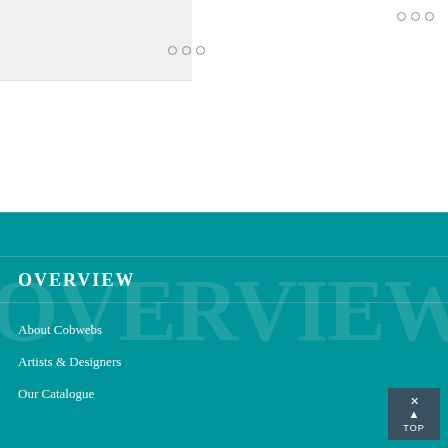[Figure (screenshot): Top white section of a webpage with a light grey panel on the left and two sets of three hollow dots (ellipsis menu icons) — one top-right and one center-left area]
OVERVIEW
About Cobwebs
Artists & Designers
Our Catalogue